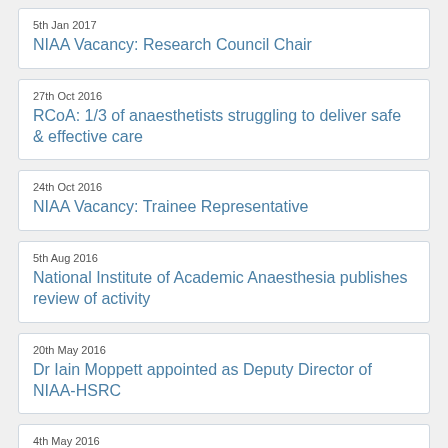5th Jan 2017 — NIAA Vacancy: Research Council Chair
27th Oct 2016 — RCoA: 1/3 of anaesthetists struggling to deliver safe & effective care
24th Oct 2016 — NIAA Vacancy: Trainee Representative
5th Aug 2016 — National Institute of Academic Anaesthesia publishes review of activity
20th May 2016 — Dr Iain Moppett appointed as Deputy Director of NIAA-HSRC
4th May 2016 — Survey on Anaesthesia Information Management